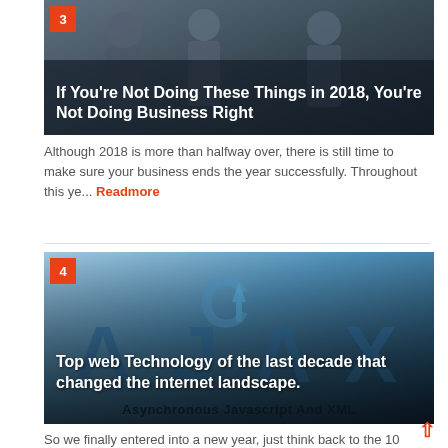[Figure (photo): Business people shaking hands or meeting, dark overlay, with badge number 3 in red top-left corner and article title overlaid at bottom]
If You're Not Doing These Things in 2018, You're Not Doing Business Right
Although 2018 is more than halfway over, there is still time to make sure your business ends the year successfully. Throughout this ye... Readmore
[Figure (logo): AJAX logo with large stylized letters A, J, A, X in blue and a C with arrow icon above, with badge number 4 in red top-left corner, and article title overlaid at bottom]
Top web Technology of the last decade that changed the internet landscape.
So we finally entered into a new year, just think back to the 10 year back from now and look around now we'll see very